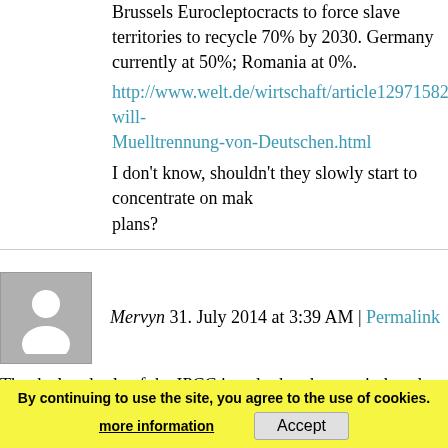Brussels Eurocleptocracts to force slave territories to recycle 70% by 2030. Germany currently at 50%; Romania at 0%.
http://www.welt.de/wirtschaft/article129715822/Bruessel-will-Muelltrennung-von-Deutschen.html
I don't know, shouldn't they slowly start to concentrate on making plans?
Mervyn 31. July 2014 at 3:39 AM | Permalink
The declared role of the IPCC is to look at human-induced clim
So how the hell can the IPCC provide an accurate assessment of basically ignores the overwhelming body of scientific literature climate variability?
Ever since the IPCC adopted its supposition (not an hypothesis induced dangerous global w... been moving the goal supposition.
By continuing to use the site, you agree to the use of cookies. more information  Accept